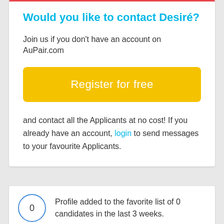Would you like to contact Desiré?
Join us if you don't have an account on AuPair.com
Register for free
and contact all the Applicants at no cost! If you already have an account, login to send messages to your favourite Applicants.
Profile added to the favorite list of 0 candidates in the last 3 weeks.